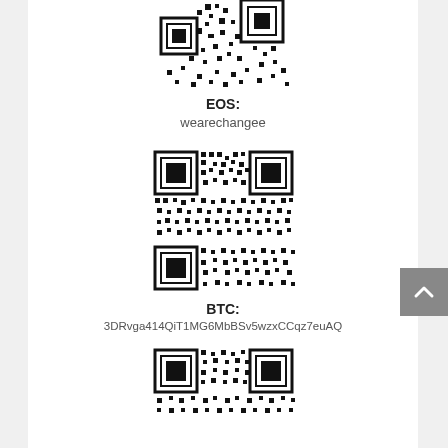[Figure (other): QR code for EOS cryptocurrency address (partially visible, top portion)]
EOS:
wearechangee
[Figure (other): QR code for BTC cryptocurrency address]
BTC:
3DRvga414QiT1MG6MbBSv5wzxCCqz7euAQ
[Figure (other): QR code (partially visible, bottom portion)]